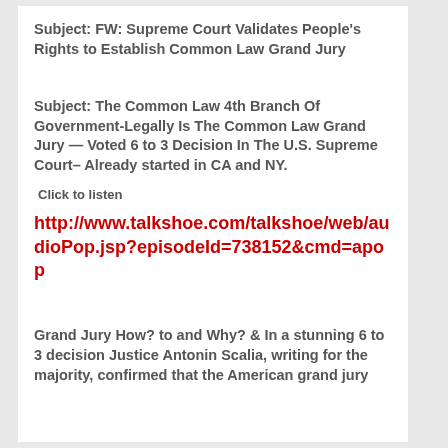Subject: FW: Supreme Court Validates People’s Rights to Establish Common Law Grand Jury
Subject: The Common Law 4th Branch Of Government-Legally Is The Common Law Grand Jury — Voted 6 to 3 Decision In The U.S. Supreme Court– Already started in CA and NY.
Click to listen
http://www.talkshoe.com/talkshoe/web/audioPop.jsp?episodeId=738152&cmd=apop
Grand Jury How? to and Why? & In a stunning 6 to 3 decision Justice Antonin Scalia, writing for the majority, confirmed that the American grand jury